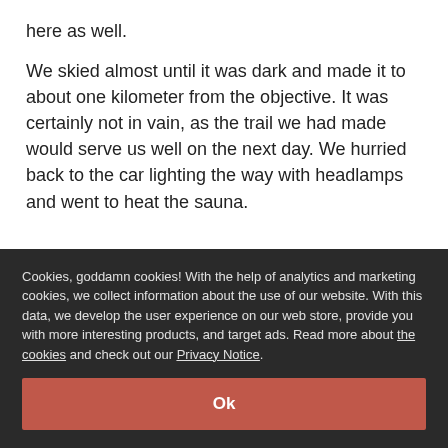here as well.
We skied almost until it was dark and made it to about one kilometer from the objective. It was certainly not in vain, as the trail we had made would serve us well on the next day. We hurried back to the car lighting the way with headlamps and went to heat the sauna.
Cookies, goddamn cookies! With the help of analytics and marketing cookies, we collect information about the use of our website. With this data, we develop the user experience on our web store, provide you with more interesting products, and target ads. Read more about the cookies and check out our Privacy Notice.
Ok